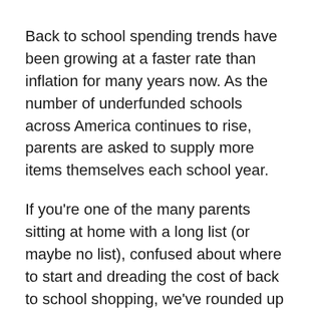Back to school spending trends have been growing at a faster rate than inflation for many years now. As the number of underfunded schools across America continues to rise, parents are asked to supply more items themselves each school year.
If you're one of the many parents sitting at home with a long list (or maybe no list), confused about where to start and dreading the cost of back to school shopping, we've rounded up 15 tips to help you save more money this year on back to school supplies.